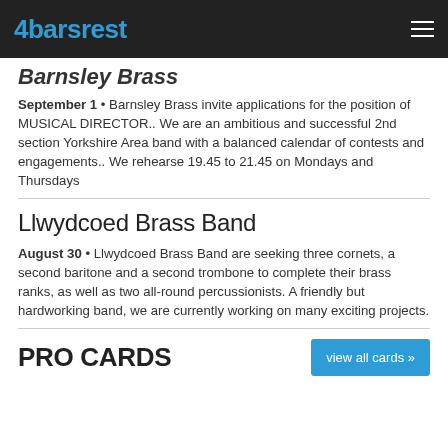4barsrest
Barnsley Brass
September 1 • Barnsley Brass invite applications for the position of MUSICAL DIRECTOR.. We are an ambitious and successful 2nd section Yorkshire Area band with a balanced calendar of contests and engagements.. We rehearse 19.45 to 21.45 on Mondays and Thursdays
Llwydcoed Brass Band
August 30 • Llwydcoed Brass Band are seeking three cornets, a second baritone and a second trombone to complete their brass ranks, as well as two all-round percussionists. A friendly but hardworking band, we are currently working on many exciting projects.
PRO CARDS